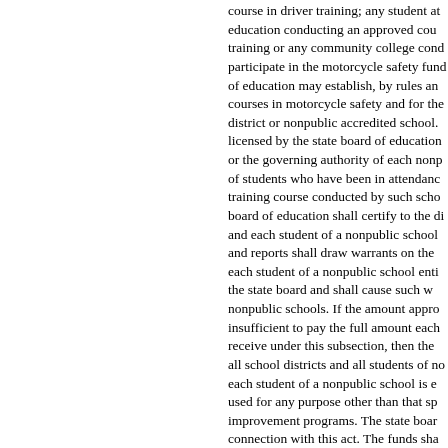course in driver training; any student at an educational service center or any school conducting an approved course in driver training or any community college conducting a course to participate in the motorcycle safety fund program. The state board of education may establish, by rules and regulations, standards for courses in motorcycle safety and for the licensure of any school district or nonpublic accredited school. Any school district licensed by the state board of education under this subsection or the governing authority of each nonpublic school shall certify of students who have been in attendance at the motorcycle safety training course conducted by such school and the state board of education shall certify to the division of the state treasury and each student of a nonpublic school entitled to such payments and reports shall draw warrants on the state treasury to pay each student of a nonpublic school entitled to such payments the state board and shall cause such warrants to be disbursed to nonpublic schools. If the amount appropriated for this purpose is insufficient to pay the full amount each school district is entitled to receive under this subsection, then the payments shall be made to all school districts and all students of nonpublic schools on a pro each student of a nonpublic school is entitled to such payments is used for any purpose other than that specified driver training improvement programs. The state board may make rules in connection with this act. The funds shall not be used for any (2) Any community college conducting a course to